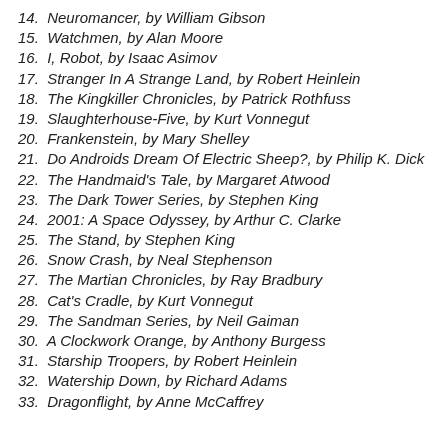14. Neuromancer, by William Gibson
15. Watchmen, by Alan Moore
16. I, Robot, by Isaac Asimov
17. Stranger In A Strange Land, by Robert Heinlein
18. The Kingkiller Chronicles, by Patrick Rothfuss
19. Slaughterhouse-Five, by Kurt Vonnegut
20. Frankenstein, by Mary Shelley
21. Do Androids Dream Of Electric Sheep?, by Philip K. Dick
22. The Handmaid's Tale, by Margaret Atwood
23. The Dark Tower Series, by Stephen King
24. 2001: A Space Odyssey, by Arthur C. Clarke
25. The Stand, by Stephen King
26. Snow Crash, by Neal Stephenson
27. The Martian Chronicles, by Ray Bradbury
28. Cat's Cradle, by Kurt Vonnegut
29. The Sandman Series, by Neil Gaiman
30. A Clockwork Orange, by Anthony Burgess
31. Starship Troopers, by Robert Heinlein
32. Watership Down, by Richard Adams
33. Dragonflight, by Anne McCaffrey